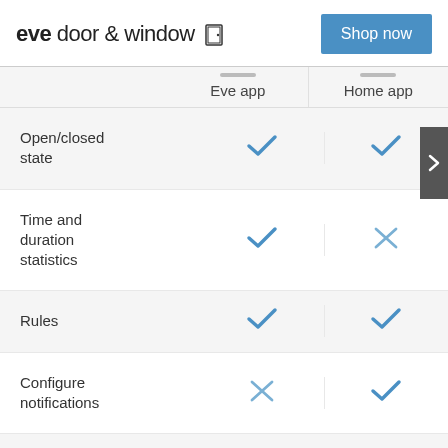eve door & window  [door icon]  Shop now
|  | Eve app | Home app |
| --- | --- | --- |
| Open/closed state | ✓ | ✓ |
| Time and duration statistics | ✓ | ✗ |
| Rules | ✓ | ✓ |
| Configure notifications | ✗ | ✓ |
| Install |  |  |